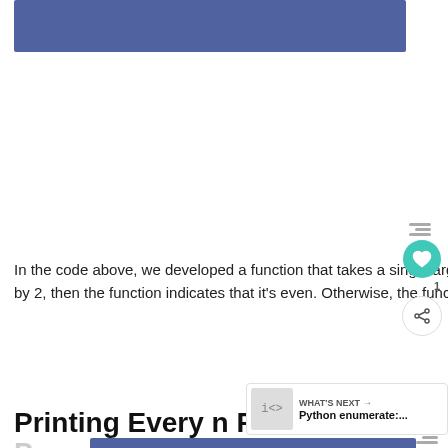[Figure (screenshot): Blue rectangular image block at top of page, partially cropped]
In the code above, we developed a function that takes a single argument. If the argument has a remainder when divided by 2, then the function indicates that it's even. Otherwise, the function prints out that it's odd.
Printing Every n Records with
[Figure (screenshot): Blue rectangular image block at bottom of page, partially cropped]